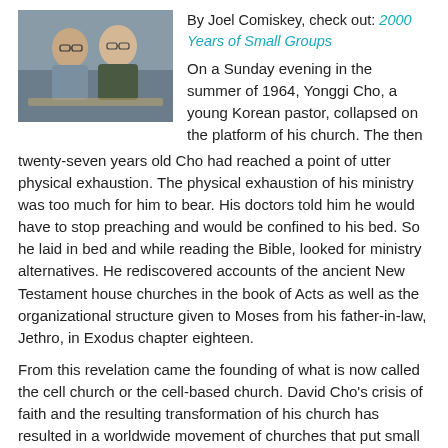[Figure (photo): A photo of two people (a woman and a man) smiling together, likely Joel Comiskey and companion, seated at a table.]
By Joel Comiskey, check out: 2000 Years of Small Groups
On a Sunday evening in the summer of 1964, Yonggi Cho, a young Korean pastor, collapsed on the platform of his church. The then twenty-seven years old Cho had reached a point of utter physical exhaustion. The physical exhaustion of his ministry was too much for him to bear. His doctors told him he would have to stop preaching and would be confined to his bed. So he laid in bed and while reading the Bible, looked for ministry alternatives. He rediscovered accounts of the ancient New Testament house churches in the book of Acts as well as the organizational structure given to Moses from his father-in-law, Jethro, in Exodus chapter eighteen.
From this revelation came the founding of what is now called the cell church or the cell-based church. David Cho's crisis of faith and the resulting transformation of his church has resulted in a worldwide movement of churches that put small groups at the center of life and ministry.